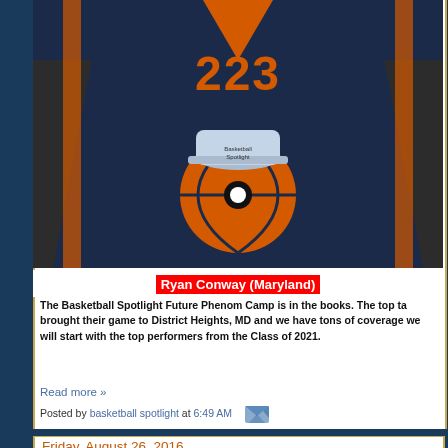[Figure (photo): Person wearing dark navy basketball jersey with number 223 in orange, and a basketball spotlight logo on the front]
Ryan Conway (Maryland)
The Basketball Spotlight Future Phenom Camp is in the books. The top ta brought their game to District Heights, MD and we have tons of coverage we will start with the top performers from the Class of 2021.
Read more »
Posted by basketball spotlight at 6:49 AM
Friday, August 26, 2016